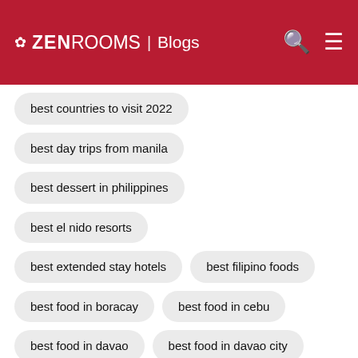ZEN ROOMS | Blogs
best countries to visit 2022
best day trips from manila
best dessert in philippines
best el nido resorts
best extended stay hotels
best filipino foods
best food in boracay
best food in cebu
best food in davao
best food in davao city
best food in pampanga
best food in philippines